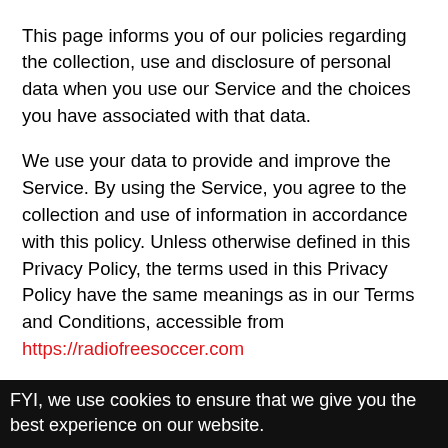This page informs you of our policies regarding the collection, use and disclosure of personal data when you use our Service and the choices you have associated with that data.

We use your data to provide and improve the Service. By using the Service, you agree to the collection and use of information in accordance with this policy. Unless otherwise defined in this Privacy Policy, the terms used in this Privacy Policy have the same meanings as in our Terms and Conditions, accessible from https://radiofreesoccer.com
Definitions
FYI, we use cookies to ensure that we give you the best experience on our website.